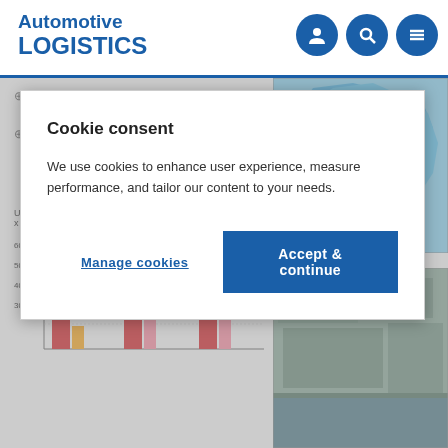Automotive LOGISTICS
Cookie consent
We use cookies to enhance user experience, measure performance, and tailor our content to your needs.
Top carmakers: Jaguar Land Rover, BMW, Ford
Terminal operators: WWL, CAT, ICO
Total units in 2011: 519,000
Change on previous: 4.85%
[Figure (bar-chart): Units x 1000]
[Figure (map): Map of Europe with UK highlighted in red dot]
[Figure (photo): Aerial photo of automotive port/terminal]